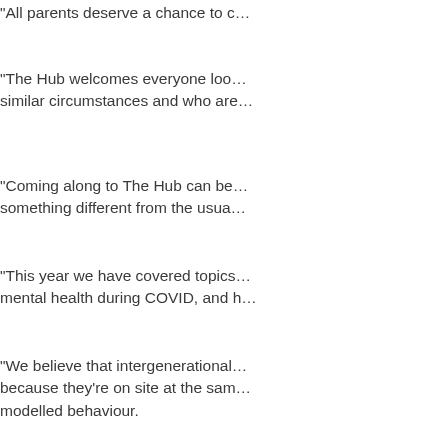“All parents deserve a chance to c…
“The Hub welcomes everyone loo… similar circumstances and who are…
“Coming along to The Hub can be… something different from the usua…
“This year we have covered topics… mental health during COVID, and h…
“We believe that intergenerational… because they’re on site at the sam… modelled behaviour.
“Our program is supported largely… engagement for vulnerable familie…
“All of us who are involved in The H… graduate to Preps in 2022!”